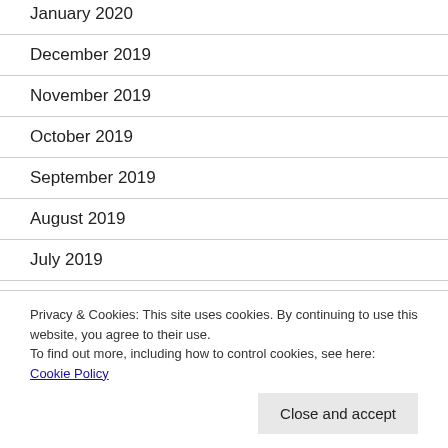January 2020
December 2019
November 2019
October 2019
September 2019
August 2019
July 2019
June 2019
Privacy & Cookies: This site uses cookies. By continuing to use this website, you agree to their use.
To find out more, including how to control cookies, see here: Cookie Policy
Close and accept